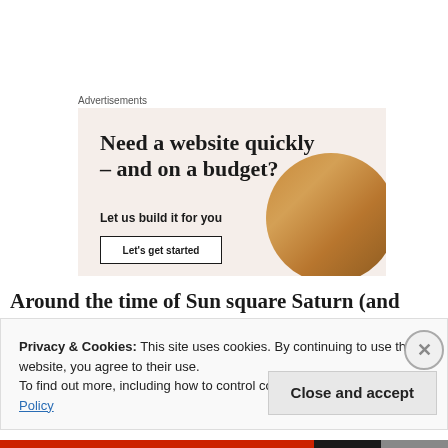Advertisements
[Figure (illustration): Advertisement banner with beige background. Headline: 'Need a website quickly – and on a budget?' Subtext: 'Let us build it for you'. Button: 'Let's get started'. Decorative circular image of a cat or animal in the right side.]
Around the time of Sun square Saturn (and the Aquarius
Privacy & Cookies: This site uses cookies. By continuing to use this website, you agree to their use.
To find out more, including how to control cookies, see here: Cookie Policy
Close and accept